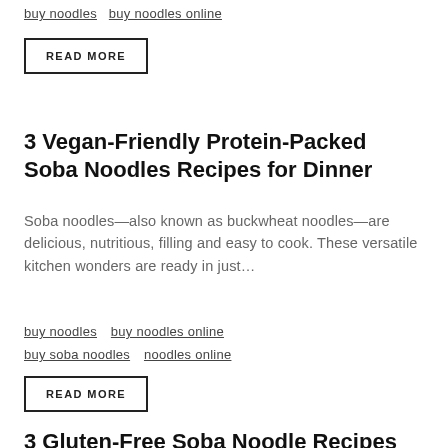buy noodles   buy noodles online
READ MORE
3 Vegan-Friendly Protein-Packed Soba Noodles Recipes for Dinner
Soba noodles—also known as buckwheat noodles—are delicious, nutritious, filling and easy to cook. These versatile kitchen wonders are ready in just…
buy noodles   buy noodles online   buy soba noodles   noodles online
READ MORE
3 Gluten-Free Soba Noodle Recipes for…